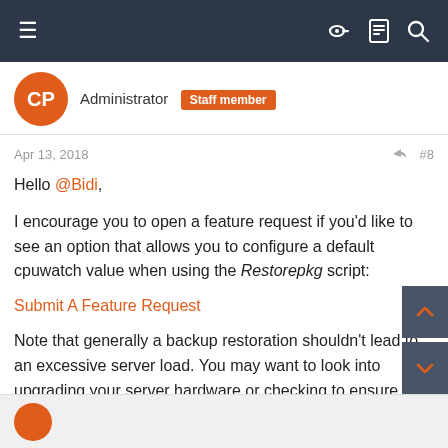Navigation bar with hamburger menu, key icon, document icon, search icon
Administrator  Staff member
Apr 13, 2018  #8
Hello @Bidi,

I encourage you to open a feature request if you'd like to see an option that allows you to configure a default cpuwatch value when using the Restorepkg script:

Submit A Feature Request

Note that generally a backup restoration shouldn't lead to an excessive server load. You may want to look into upgrading your server hardware or checking to ensure there are no hardware issues with your disk.

Thank you.